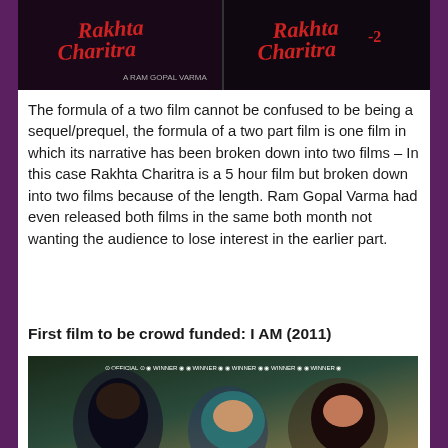[Figure (photo): Two movie posters side by side for 'Rakhta Charitra' and 'Rakhta Charitra 2' on a dark/black background]
The formula of a two film cannot be confused to be being a sequel/prequel, the formula of a two part film is one film in which its narrative has been broken down into two films – In this case Rakhta Charitra is a 5 hour film but broken down into two films because of the length. Ram Gopal Varma had even released both films in the same both month not wanting the audience to lose interest in the earlier part.
First film to be crowd funded: I AM (2011)
[Figure (photo): Movie poster for 'I AM (2011)' showing three women's faces with festival award laurels at the top, on a dark green and brown background]